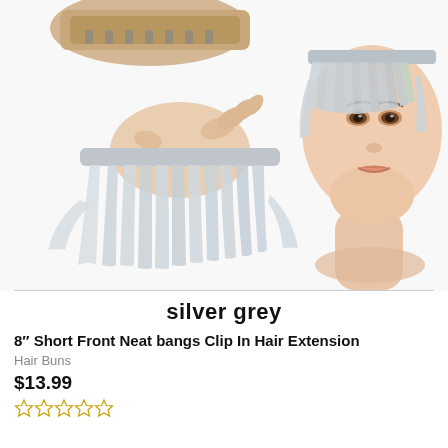[Figure (photo): Product photo showing silver grey clip-in hair bang extensions. Left side shows a hand holding the hair piece and a clip/weft at top. Right side shows a mannequin head wearing the silver grey bangs.]
silver grey
8″ Short Front Neat bangs Clip In Hair Extension
Hair Buns
$13.99
★★★★★ (0 ratings)